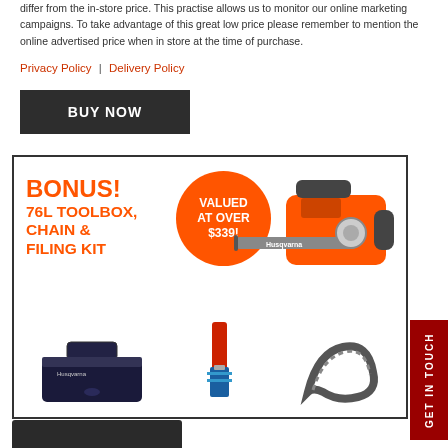differ from the in-store price. This practise allows us to monitor our online marketing campaigns. To take advantage of this great low price please remember to mention the online advertised price when in store at the time of purchase.
Privacy Policy | Delivery Policy
BUY NOW
[Figure (infographic): Bonus offer banner: BONUS! 76L TOOLBOX, CHAIN & FILING KIT. Valued at over $339! Shows a Husqvarna chainsaw, toolbox, filing kit, and chain.]
[Figure (photo): Partial view of a dark product at the bottom of the page.]